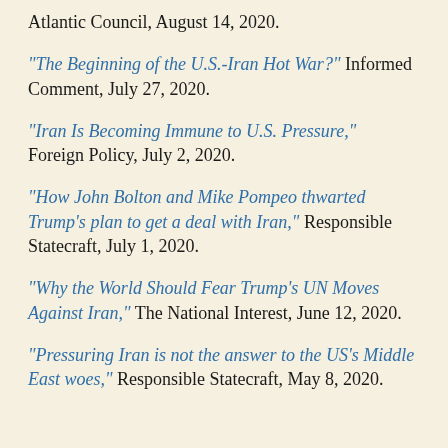Atlantic Council, August 14, 2020.
“The Beginning of the U.S.-Iran Hot War?” Informed Comment, July 27, 2020.
“Iran Is Becoming Immune to U.S. Pressure,” Foreign Policy, July 2, 2020.
“How John Bolton and Mike Pompeo thwarted Trump’s plan to get a deal with Iran,” Responsible Statecraft, July 1, 2020.
“Why the World Should Fear Trump’s UN Moves Against Iran,” The National Interest, June 12, 2020.
“Pressuring Iran is not the answer to the US’s Middle East woes,” Responsible Statecraft, May 8, 2020.